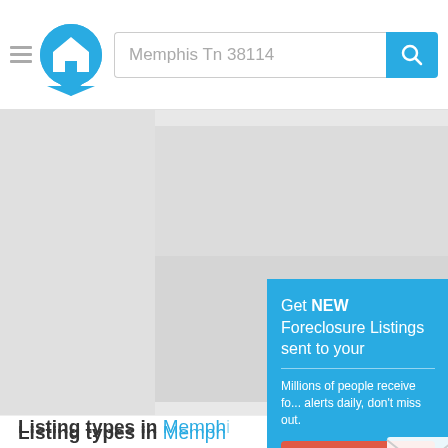Memphis Tn 38114
[Figure (screenshot): Map view of Memphis TN 38114 area showing a gray map placeholder]
[Figure (infographic): Popup overlay on blue background: 'Get NEW Foreclosure Listings sent to your...' with Signup Here button and No Thanks | Remind Me Lat... link, envelope icon]
Listing types in Memphis
These money-making opportunit... savings on your next purchase.
Foreclosures (5)
HUD